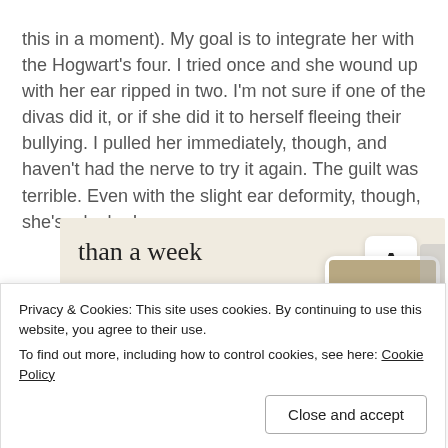this in a moment).  My goal is to integrate her with the Hogwart's four.  I tried once and she wound up with her ear ripped in two.  I'm not sure if one of the divas did it, or if she did it to herself fleeing their bullying.  I pulled her immediately, though, and haven't had the nerve to try it again.  The guilt was terrible.  Even with the slight ear deformity, though, she's a looker!
[Figure (screenshot): Advertisement banner with beige background showing 'than a week' text and 'Explore options' green button, with phone UI mockup showing food images on the right]
Privacy & Cookies: This site uses cookies. By continuing to use this website, you agree to their use.
To find out more, including how to control cookies, see here: Cookie Policy
Close and accept